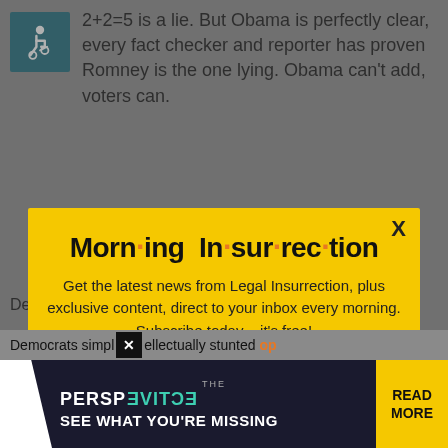2+2=5 is a lie. But Obama is perfectly clear, every fact checker and reporter has proven Romney is the one lying. Obama can't add, voters can.
[Figure (screenshot): Modal popup for Morning Insurrection newsletter signup with yellow background, close X button, title 'Morn·ing In·sur·rec·tion', body text, and orange JOIN NOW button]
Democrats simply intellectually stunted
[Figure (screenshot): Bottom advertisement bar for 'The Perspective' with dark background, teal accent, white shape, and yellow READ MORE button]